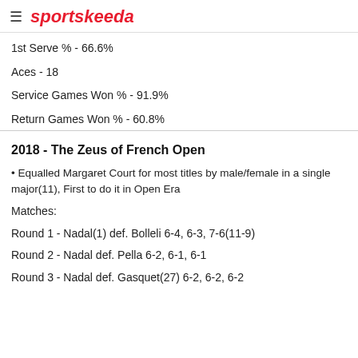sportskeeda
1st Serve % - 66.6%
Aces - 18
Service Games Won % - 91.9%
Return Games Won % - 60.8%
2018 - The Zeus of French Open
• Equalled Margaret Court for most titles by male/female in a single major(11), First to do it in Open Era
Matches:
Round 1 - Nadal(1) def. Bolleli 6-4, 6-3, 7-6(11-9)
Round 2 - Nadal def. Pella 6-2, 6-1, 6-1
Round 3 - Nadal def. Gasquet(27) 6-2, 6-2, 6-2